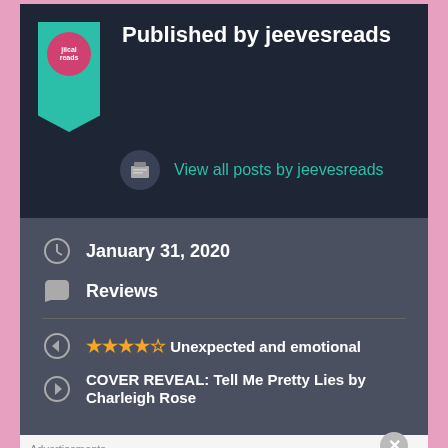Published by jeevesreads
View all posts by jeevesreads
January 31, 2020
Reviews
★★★★☆ Unexpected and emotional
COVER REVEAL: Tell Me Pretty Lies by Charleigh Rose
Advertisements
[Figure (other): Tumblr Ad-Free Browsing advertisement banner: $39.99 a year or $4.99 a month]